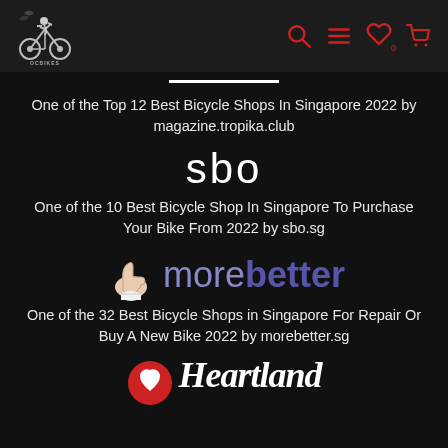[Figure (logo): OC Bikes logo in navigation bar with bicycle motif]
[Figure (logo): Navigation icons: search, menu, heart with 0, cart in red]
One of the Top 12 Best Bicycle Shops In Singapore 2022 by magazine.tropika.club
[Figure (logo): sbo logo in white text]
One of the 10 Best Bicycle Shop In Singapore To Purchase Your Bike From 2022 by sbo.sg
[Figure (logo): morebetter logo with thumbs up emoji]
One of the 32 Best Bicycle Shops in Singapore For Repair Or Buy A New Bike 2022 by morebetter.sg
[Figure (logo): Heartland logo partially visible at bottom]